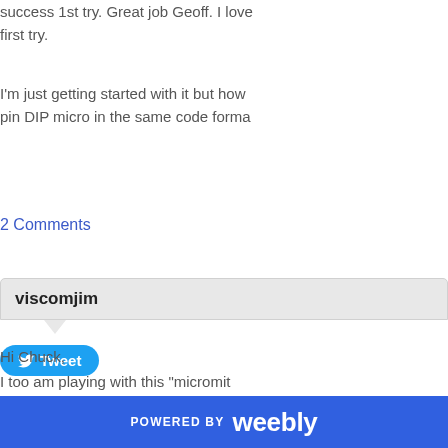success 1st try. Great job Geoff. I love first try.
I'm just getting started with it but how pin DIP micro in the same code forma
[Figure (other): Twitter Tweet button (blue rounded rectangle with bird icon and 'Tweet' label)]
2 Comments
viscomjim
Hi Chuck,
I too am playing with this "micromit stumbled upon your site through bo the beta and just now through the c
POWERED BY weebly